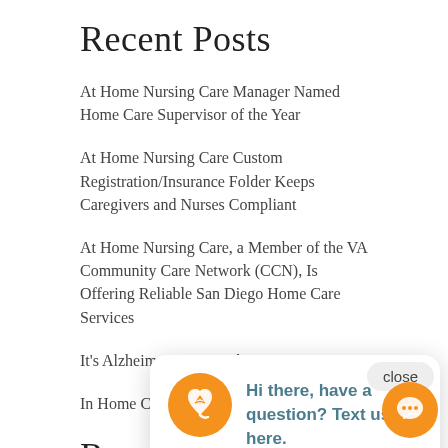Recent Posts
At Home Nursing Care Manager Named Home Care Supervisor of the Year
At Home Nursing Care Custom Registration/Insurance Folder Keeps Caregivers and Nurses Compliant
At Home Nursing Care, a Member of the VA Community Care Network (CCN), Is Offering Reliable San Diego Home Care Services
It's Alzheimer's, Now What?
In Home Care
Recent
تمريض منزلي on What the AB 5 Law Means for In-Home Health Care
Michelle Abbott on Turning problems into opportunities
Cleo Conol on 2020 Technology...Ringing in the New Year